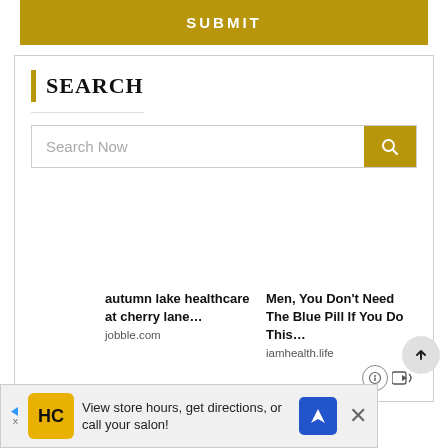[Figure (screenshot): Gold/tan SUBMIT button at the top of the page]
SEARCH
[Figure (screenshot): Search input box with placeholder text 'Search Now' and a gold search button with magnifying glass icon]
autumn lake healthcare at cherry lane...
jobble.com
Men, You Don't Need The Blue Pill If You Do This...
iamhealth.life
[Figure (screenshot): Scroll-to-top button (arrow up in gray circle)]
[Figure (screenshot): Bottom advertisement banner: HC logo, 'View store hours, get directions, or call your salon!' with navigation arrow and close button]